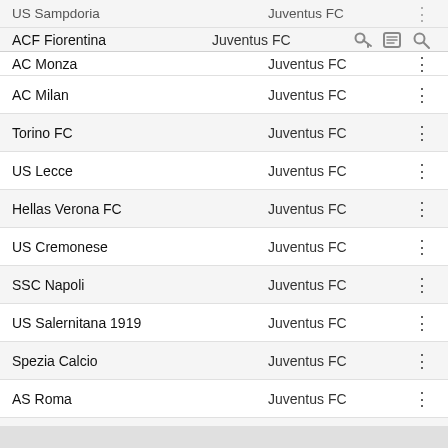| Club | Opponent | Action |
| --- | --- | --- |
| US Sampdoria | Juventus FC | ⋮ |
| ACF Fiorentina | Juventus FC | ⋮ |
| AC Monza | Juventus FC | ⋮ |
| AC Milan | Juventus FC | ⋮ |
| Torino FC | Juventus FC | ⋮ |
| US Lecce | Juventus FC | ⋮ |
| Hellas Verona FC | Juventus FC | ⋮ |
| US Cremonese | Juventus FC | ⋮ |
| SSC Napoli | Juventus FC | ⋮ |
| US Salernitana 1919 | Juventus FC | ⋮ |
| Spezia Calcio | Juventus FC | ⋮ |
| AS Roma | Juventus FC | ⋮ |
| FC Internazionale Milano | Juventus FC | ⋮ |
| SS Lazio | Juventus FC | ⋮ |
| US Sassuolo Calcio | Juventus FC | ⋮ |
| Bologna FC 1909 | Juventus FC | ⋮ |
| Atalanta BC | Juventus FC | ⋮ |
| Empoli FC | Juventus FC | ⋮ |
| Udinese Calcio | Juventus FC | ⋮ |